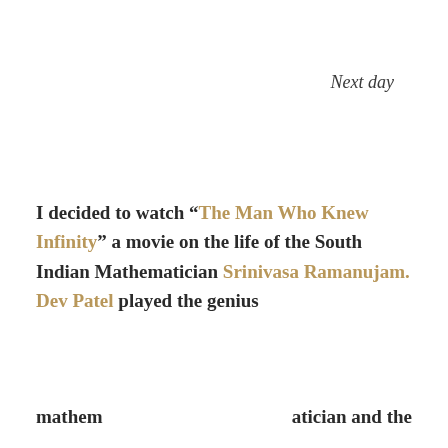Next day
I decided to watch “The Man Who Knew Infinity” a movie on the life of the South Indian Mathematician Srinivasa Ramanujam. Dev Patel played the genius
mathem                                                        atician and the